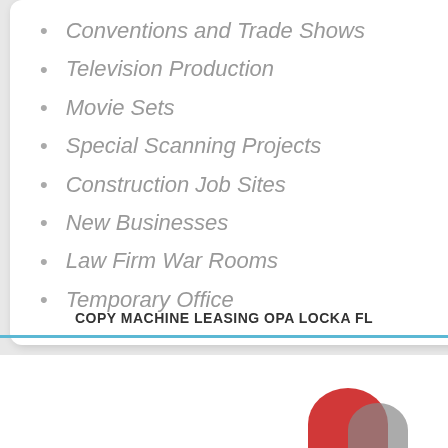Conventions and Trade Shows
Television Production
Movie Sets
Special Scanning Projects
Construction Job Sites
New Businesses
Law Firm War Rooms
Temporary Office
COPY MACHINE LEASING OPA LOCKA FL
[Figure (logo): Partial logo with red and gray circular shapes visible at bottom right]